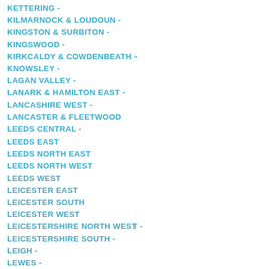KETTERING -
KILMARNOCK & LOUDOUN -
KINGSTON & SURBITON -
KINGSWOOD -
KIRKCALDY & COWDENBEATH -
KNOWSLEY -
LAGAN VALLEY -
LANARK & HAMILTON EAST -
LANCASHIRE WEST -
LANCASTER & FLEETWOOD
LEEDS CENTRAL -
LEEDS EAST
LEEDS NORTH EAST
LEEDS NORTH WEST
LEEDS WEST
LEICESTER EAST
LEICESTER SOUTH
LEICESTER WEST
LEICESTERSHIRE NORTH WEST -
LEICESTERSHIRE SOUTH -
LEIGH -
LEWES -